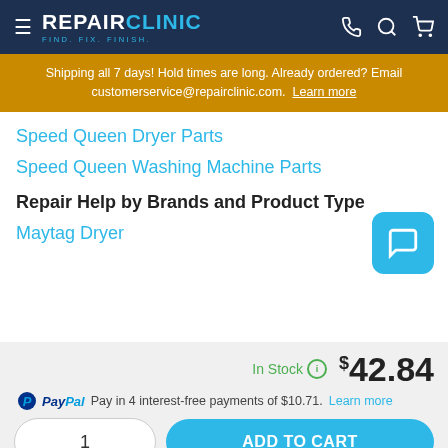REPAIR CLINIC — FIND. FIX. FINISH.
Shipping all 7 days! Hold times are long. Already ordered? Email customerservice@repairclinic.com. Learn more
Speed Queen Dryer Parts
Speed Queen Washing Machine Parts
Repair Help by Brands and Product Type
Maytag Dryer
In Stock  $42.84
PayPal Pay in 4 interest-free payments of $10.71. Learn more
1  ADD TO CART
Order by 8:30 pm, this part ships TODAY!